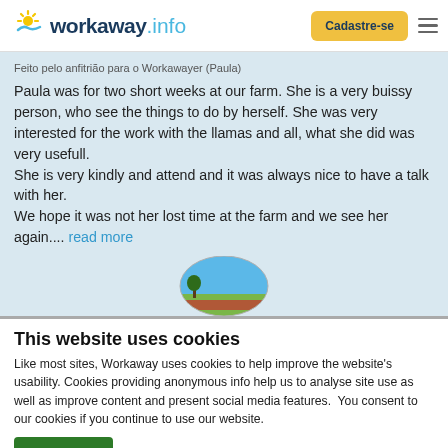workaway.info — Cadastre-se
Feito pelo anfitrião para o Workawayer (Paula)
Paula was for two short weeks at our farm. She is a very buissy person, who see the things to do by herself. She was very interested for the work with the llamas and all, what she did was very usefull.
She is very kindly and attend and it was always nice to have a talk with her.
We hope it was not her lost time at the farm and we see her again.... read more
[Figure (photo): Circular profile image of a farm/landscape scene with blue sky and red poppy field]
This website uses cookies
Like most sites, Workaway uses cookies to help improve the website's usability. Cookies providing anonymous info help us to analyse site use as well as improve content and present social media features.  You consent to our cookies if you continue to use our website.